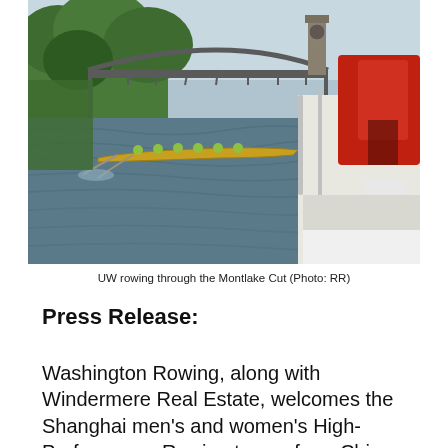[Figure (photo): Rowers in a yellow shell boat passing under a steel bridge on the Montlake Cut waterway, viewed from the deck of a motorboat with red equipment visible on the right side. Trees and a clock tower are visible in the background.]
UW rowing through the Montlake Cut (Photo: RR)
Press Release:
Washington Rowing, along with Windermere Real Estate, welcomes the Shanghai men's and women's High-Performance Rowing teams from China as the headlining opponent for the 21st annual Windermere Cup, scheduled for